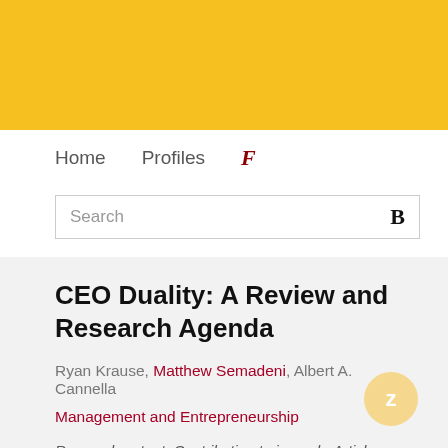[Figure (other): Yellow/gold banner at the top of the page, decorative header background]
Home   Profiles   F
Search
CEO Duality: A Review and Research Agenda
Ryan Krause, Matthew Semadeni, Albert A. Cannella
Management and Entrepreneurship
Research output: Contribution to journal › Article › peer-review